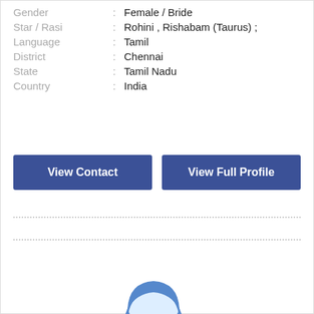| Gender | : | Female / Bride |
| Star / Rasi | : | Rohini , Rishabam (Taurus) ; |
| Language | : | Tamil |
| District | : | Chennai |
| State | : | Tamil Nadu |
| Country | : | India |
View Contact
View Full Profile
[Figure (illustration): A blue outline illustration of a person (user avatar) with a blue circle containing a white plus sign in the bottom right, indicating an 'add user' or 'add photo' action.]